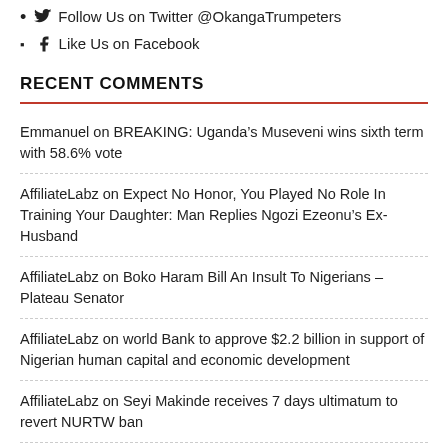Follow Us on Twitter @OkangaTrumpeters
Like Us on Facebook
RECENT COMMENTS
Emmanuel on BREAKING: Uganda's Museveni wins sixth term with 58.6% vote
AffiliateLabz on Expect No Honor, You Played No Role In Training Your Daughter: Man Replies Ngozi Ezeonu's Ex-Husband
AffiliateLabz on Boko Haram Bill An Insult To Nigerians – Plateau Senator
AffiliateLabz on world Bank to approve $2.2 billion in support of Nigerian human capital and economic development
AffiliateLabz on Seyi Makinde receives 7 days ultimatum to revert NURTW ban
NEWS